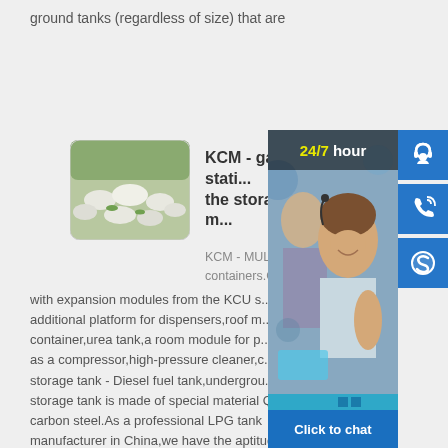ground tanks (regardless of size) that are
[Figure (photo): Aerial view of multiple large white cylindrical storage tanks on green land]
KCM - gas station equipment for the storage of m...
KCM - MULTI gas ... containers.Gas sta... with expansion modules from the KCU s... additional platform for dispensers,roof m... container,urea tank,a room module for p... as a compressor,high-pressure cleaner,c... storage tank - Diesel fuel tank,undergrou... storage tank is made of special material Q345R carbon steel.As a professional LPG tank manufacturer in China,we have the aptitude to design and manufacture different type of pressure vessel,manufacturing processing of LPG storage tank is complex and strict.
[Figure (photo): Customer service representatives at computer workstations with headsets, smiling]
24/7 hour
Click to chat